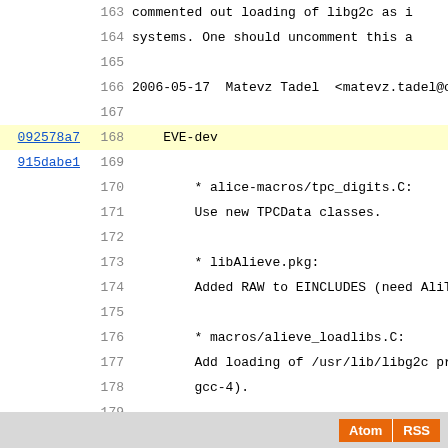163    commented out loading of libg2c as i
164    systems. One should uncomment this a
165
166 2006-05-17  Matevz Tadel  <matevz.tadel@cern
167
168    EVE-dev
169
170    * alice-macros/tpc_digits.C:
171    Use new TPCData classes.
172
173    * libAlieve.pkg:
174    Added RAW to EINCLUDES (need AliTPCR
175
176    * macros/alieve_loadlibs.C:
177    Add loading of /usr/lib/libg2c prior
178    gcc-4).
179
180    * README:
181    Explain purpose of test-macros/ dire
182
183    * test-macros/tpc_digi_test.C:
184    * test-macros/tpc_raw_test.C:
185    New files: demonstrate usage of TPCD
186
187    * reve-genclass.pl:
188    New file: generate class skeletons f
189
190    * ChangeLog:
191    New file.
Atom  RSS